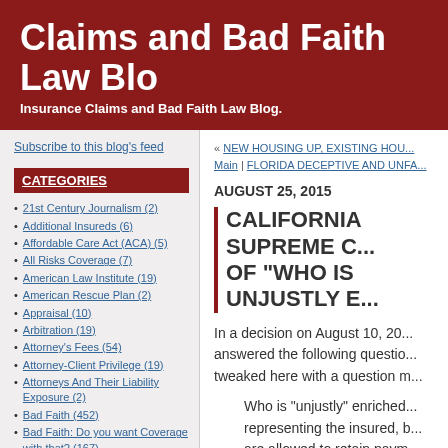Claims and Bad Faith Law Blo
Insurance Claims and Bad Faith Law Blog.
Subscribe to this blog's feed
CATEGORIES
21st Century Journalism (2)
Additional Insureds (6)
Affordable Care Act (ACA) (5)
All Risks Coverage (7)
American Law Institute (19)
American Rescue Plan (2)
Appraisal (10)
Arbitration (19)
Attorney's Fees (54)
Attorney-Client Privilege (19)
Attorneys And Their Liability Exposure (2)
Bad Faith (452)
Bad Faith: Do you want Coverage with that? (167)
Bodily Injury (1)
Bond Insurance (14)
« NEW HOUSING UP, EXISTING HOU... Main | FLORIDA DECEPTIVE AND UNFA...
AUGUST 25, 2015
CALIFORNIA SUPREME C... OF "WHO IS UNJUSTLY E...
In a decision on August 10, 20... answered the following questio... tweaked here with a question m...
Who is "unjustly" enriched... representing the insured, b... are allowed to retain paym... unnecessary for the insure...
Hartford Cas. Ins. Co. v. B...